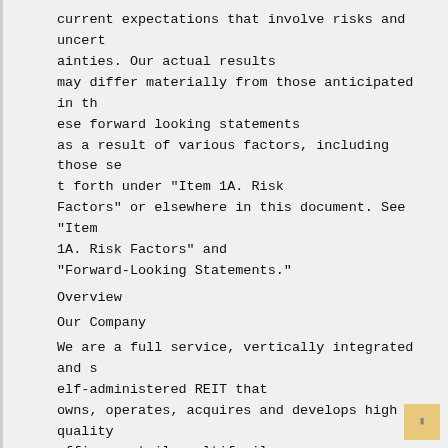current expectations that involve risks and uncertainties. Our actual results may differ materially from those anticipated in these forward looking statements as a result of various factors, including those set forth under "Item 1A. Risk Factors" or elsewhere in this document. See "Item 1A. Risk Factors" and "Forward-Looking Statements."
Overview
Our Company
We are a full service, vertically integrated and self-administered REIT that owns, operates, acquires and develops high quality office, retail, multifamily and mixed-use properties in attractive, high-barrier-to-entry markets in